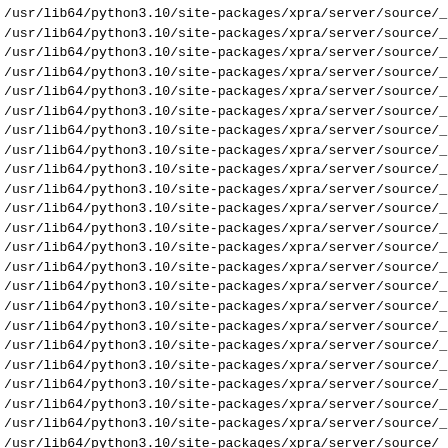/usr/lib64/python3.10/site-packages/xpra/server/source/_
/usr/lib64/python3.10/site-packages/xpra/server/source/_
/usr/lib64/python3.10/site-packages/xpra/server/source/_
/usr/lib64/python3.10/site-packages/xpra/server/source/_
/usr/lib64/python3.10/site-packages/xpra/server/source/_
/usr/lib64/python3.10/site-packages/xpra/server/source/_
/usr/lib64/python3.10/site-packages/xpra/server/source/_
/usr/lib64/python3.10/site-packages/xpra/server/source/_
/usr/lib64/python3.10/site-packages/xpra/server/source/_
/usr/lib64/python3.10/site-packages/xpra/server/source/_
/usr/lib64/python3.10/site-packages/xpra/server/source/_
/usr/lib64/python3.10/site-packages/xpra/server/source/_
/usr/lib64/python3.10/site-packages/xpra/server/source/_
/usr/lib64/python3.10/site-packages/xpra/server/source/_
/usr/lib64/python3.10/site-packages/xpra/server/source/_
/usr/lib64/python3.10/site-packages/xpra/server/source/_
/usr/lib64/python3.10/site-packages/xpra/server/source/_
/usr/lib64/python3.10/site-packages/xpra/server/source/_
/usr/lib64/python3.10/site-packages/xpra/server/source/_
/usr/lib64/python3.10/site-packages/xpra/server/source/_
/usr/lib64/python3.10/site-packages/xpra/server/source/_
/usr/lib64/python3.10/site-packages/xpra/server/source/_
/usr/lib64/python3.10/site-packages/xpra/server/source/_
/usr/lib64/python3.10/site-packages/xpra/server/source/_
/usr/lib64/python3.10/site-packages/xpra/server/source/_
/usr/lib64/python3.10/site-packages/xpra/server/source/au
/usr/lib64/python3.10/site-packages/xpra/server/source/av
/usr/lib64/python3.10/site-packages/xpra/server/source/cl
/usr/lib64/python3.10/site-packages/xpra/server/source/co